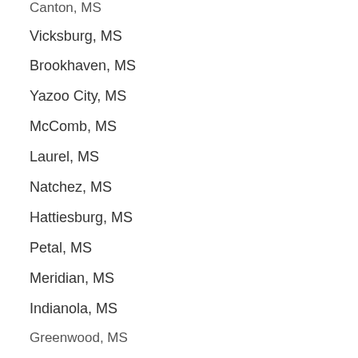Canton, MS
Vicksburg, MS
Brookhaven, MS
Yazoo City, MS
McComb, MS
Laurel, MS
Natchez, MS
Hattiesburg, MS
Petal, MS
Meridian, MS
Indianola, MS
Greenwood, MS